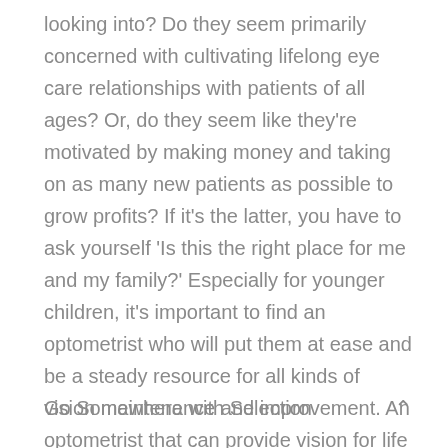looking into? Do they seem primarily concerned with cultivating lifelong eye care relationships with patients of all ages? Or, do they seem like they're motivated by making money and taking on as many new patients as possible to grow profits? If it's the latter, you have to ask yourself 'Is this the right place for me and my family?' Especially for younger children, it's important to find an optometrist who will put them at ease and be a steady resource for all kinds of vision maintenance and improvement. An optometrist that can provide vision for life is invaluable to your family. Find an eye care center with values that match your own. It's the groundwork for a successful and lasting eye care relationship.
Go Somewhere with Selection